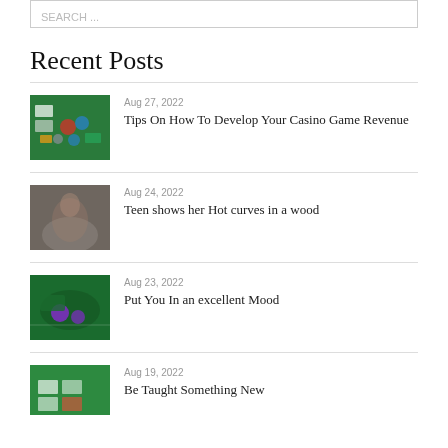Recent Posts
Aug 27, 2022 — Tips On How To Develop Your Casino Game Revenue
Aug 24, 2022 — Teen shows her Hot curves in a wood
Aug 23, 2022 — Put You In an excellent Mood
Aug 19, 2022 — Be Taught Something New